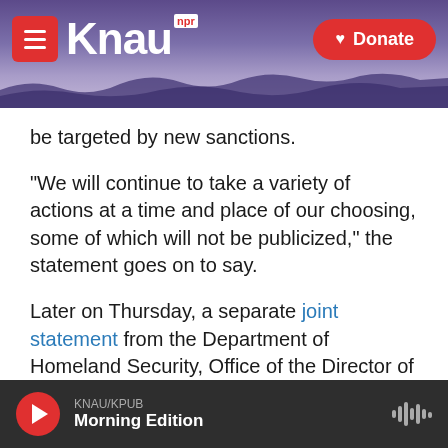KNAU NPR — Donate
be targeted by new sanctions.
"We will continue to take a variety of actions at a time and place of our choosing, some of which will not be publicized," the statement goes on to say.
Later on Thursday, a separate joint statement from the Department of Homeland Security, Office of the Director of National Intelligence, and the FBI reiterated the claim that the Russian government was behind the cyber attacks:
"This activity by Russian intelligence services is
KNAU/KPUB — Morning Edition